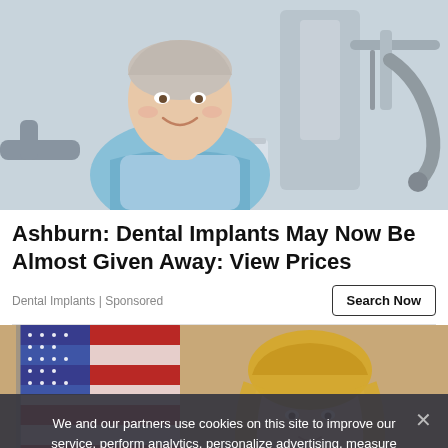[Figure (photo): Elderly woman smiling in a dental chair wearing a blue bib, dental equipment visible in background]
Ashburn: Dental Implants May Now Be Almost Given Away: View Prices
Dental Implants | Sponsored
[Figure (photo): Blonde woman in front of an American flag, appears to be in a professional or governmental setting]
We and our partners use cookies on this site to improve our service, perform analytics, personalize advertising, measure advertising performance, and remember website preferences.
Ok